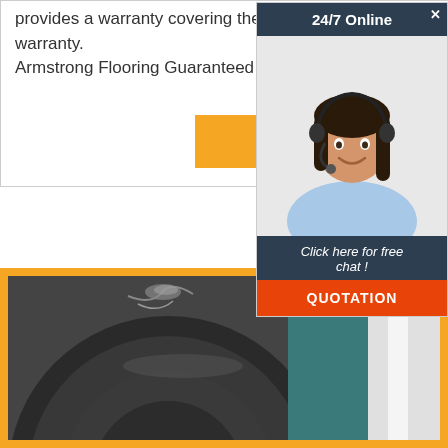provides a warranty covering the adhesive bond for the length of the flooring product limited warranty. Armstrong Flooring Guaranteed Installation Limited Warranty pdf.
Get Price
[Figure (photo): Advertisement widget showing a woman with headset, '24/7 Online' header, 'Click here for free chat!' text, and 'QUOTATION' button]
[Figure (photo): Close-up photo of industrial machinery — appears to be a large metal roller or drum mechanism with teal background elements, framed in orange border]